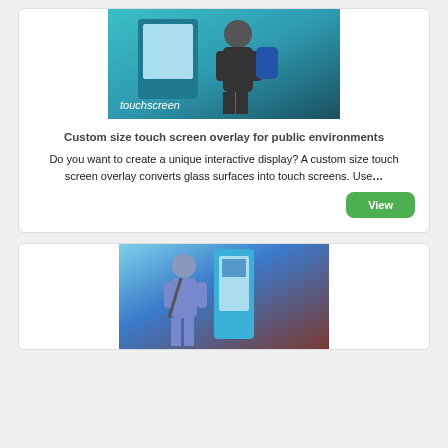[Figure (photo): Person using a touchscreen kiosk outdoors, teal/cyan colored kiosk with 'touchscreen' text visible]
Custom size touch screen overlay for public environments
Do you want to create a unique interactive display? A custom size touch screen overlay converts glass surfaces into touch screens. Use…
[Figure (photo): Person in blue shirt using a tall blue interactive kiosk/display outdoors]